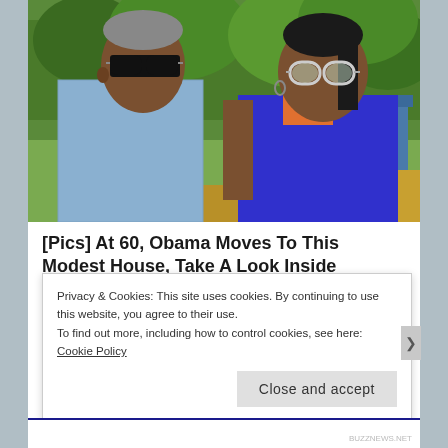[Figure (photo): Two people posing outdoors with sunglasses, green trees and a blue building in the background. Man on left wearing light blue shirt with dark sunglasses, woman on right wearing blue outfit with white sunglasses.]
[Pics] At 60, Obama Moves To This Modest House, Take A Look Inside
BuzzAura
Privacy & Cookies: This site uses cookies. By continuing to use this website, you agree to their use.
To find out more, including how to control cookies, see here: Cookie Policy
Close and accept